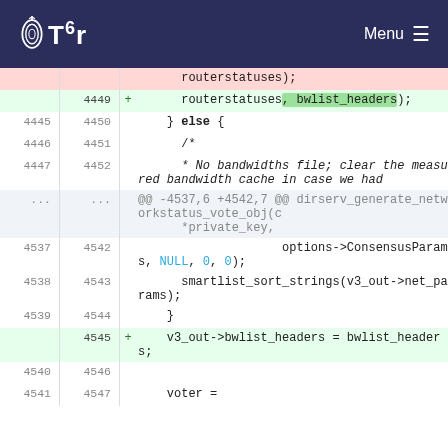Tor  Menu
Code diff view showing changes around lines 4449-4547 in a C source file related to Tor network status vote generation. Shows additions of bwlist_headers parameter and v3_out->bwlist_headers assignment.